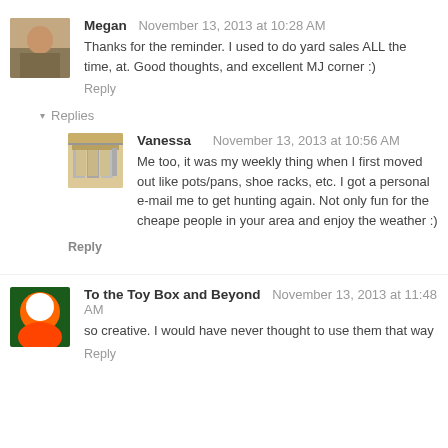Megan  November 13, 2013 at 10:28 AM
Thanks for the reminder. I used to do yard sales ALL the time, at. Good thoughts, and excellent MJ corner :)
Reply
▾ Replies
Vanessa  November 13, 2013 at 10:56 AM
Me too, it was my weekly thing when I first moved out like pots/pans, shoe racks, etc. I got a personal e-mail me to get hunting again. Not only fun for the cheape people in your area and enjoy the weather :)
Reply
To the Toy Box and Beyond  November 13, 2013 at 11:48 AM
so creative. I would have never thought to use them that way
Reply